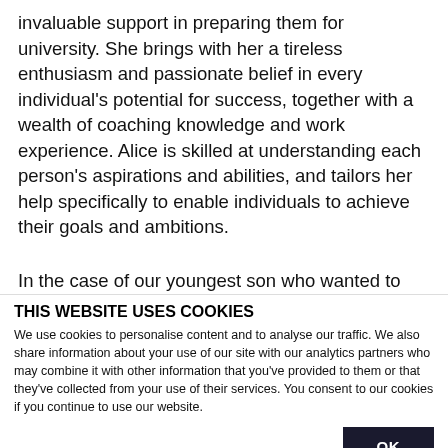invaluable support in preparing them for university. She brings with her a tireless enthusiasm and passionate belief in every individual's potential for success, together with a wealth of coaching knowledge and work experience. Alice is skilled at understanding each person's aspirations and abilities, and tailors her help specifically to enable individuals to achieve their goals and ambitions.
In the case of our youngest son who wanted to follow an Arts based Film degree on the back of
THIS WEBSITE USES COOKIES
We use cookies to personalise content and to analyse our traffic. We also share information about your use of our site with our analytics partners who may combine it with other information that you've provided to them or that they've collected from your use of their services. You consent to our cookies if you continue to use our website.